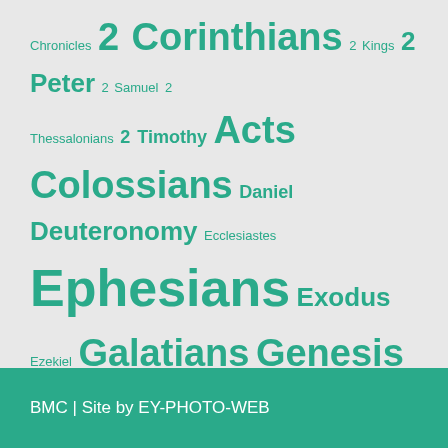[Figure (infographic): Tag cloud of Bible books in teal/green color on light gray background, with varying font sizes indicating frequency/importance. Books listed: Chronicles, 2 Corinthians, 2 Kings, 2 Peter, 2 Samuel, 2 Thessalonians, 2 Timothy, Acts, Colossians, Daniel, Deuteronomy, Ecclesiastes, Ephesians, Exodus, Ezekiel, Galatians, Genesis, Hebrews, Isaiah, James, Jeremiah, Job, John, Joshua, Judges, Luke, Malachi, Mark, Matthew, Nehemiah, Numbers, Philippians, Proverbs, Psalm, Revelation, Romans, Titus]
BMC | Site by EY-PHOTO-WEB